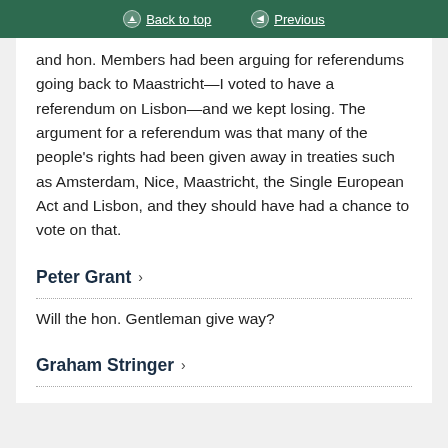Back to top | Previous
and hon. Members had been arguing for referendums going back to Maastricht—I voted to have a referendum on Lisbon—and we kept losing. The argument for a referendum was that many of the people's rights had been given away in treaties such as Amsterdam, Nice, Maastricht, the Single European Act and Lisbon, and they should have had a chance to vote on that.
Peter Grant
Will the hon. Gentleman give way?
Graham Stringer